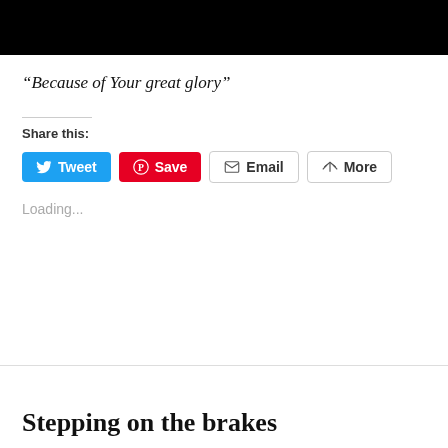[Figure (photo): Black rectangle at top of page, likely a redacted or dark image]
“Because of Your great glory”
Share this:
Loading...
Stepping on the brakes